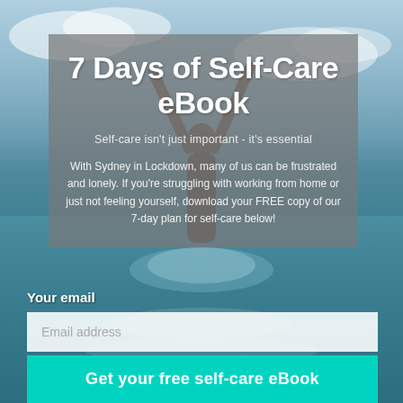[Figure (photo): Person emerging from ocean water with arms raised against a sky background]
7 Days of Self-Care eBook
Self-care isn't just important - it's essential
With Sydney in Lockdown, many of us can be frustrated and lonely. If you're struggling with working from home or just not feeling yourself, download your FREE copy of our 7-day plan for self-care below!
Your email
Email address
Get your free self-care eBook